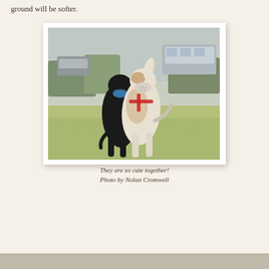ground will be softer.
[Figure (photo): Two greyhounds wearing muzzles running together on a grass field. One dog is black and one is white with brown patches. The white dog wears a red harness and white muzzle; the black dog wears a blue muzzle. A vehicle is visible in the blurred background.]
They are so cute together!
Photo by Nolan Cromwell